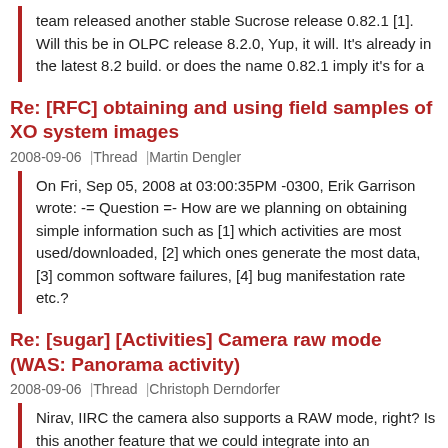team released another stable Sucrose release 0.82.1 [1]. Will this be in OLPC release 8.2.0, Yup, it will. It's already in the latest 8.2 build. or does the name 0.82.1 imply it's for a
Re: [RFC] obtaining and using field samples of XO system images
2008-09-06 | Thread | Martin Dengler
On Fri, Sep 05, 2008 at 03:00:35PM -0300, Erik Garrison wrote: -= Question =- How are we planning on obtaining simple information such as [1] which activities are most used/downloaded, [2] which ones generate the most data, [3] common software failures, [4] bug manifestation rate etc.?
Re: [sugar] [Activities] Camera raw mode (WAS: Panorama activity)
2008-09-06 | Thread | Christoph Derndorfer
Nirav, IIRC the camera also supports a RAW mode, right? Is this another feature that we could integrate into an advanced camera activity that also includes the features mentioned below? Thanks, Christoph On Fri, Sep 5, 2008 at 4:26 PM, Nirav Patel [EMAIL PROTECTED] wrote: I don't know about
Re: Greg Smith's Weekly Report